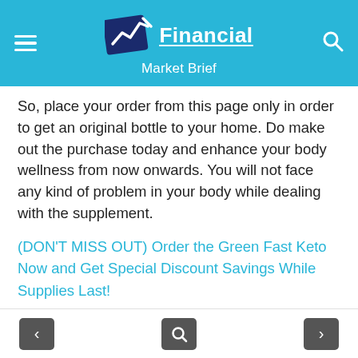Financial Market Brief
So, place your order from this page only in order to get an original bottle to your home. Do make out the purchase today and enhance your body wellness from now onwards. You will not face any kind of problem in your body while dealing with the supplement.
(DON'T MISS OUT) Order the Green Fast Keto Now and Get Special Discount Savings While Supplies Last!
Frequently Asked Questions
Is the product legit?
Yes, this is a legit product and it helps in
< search >